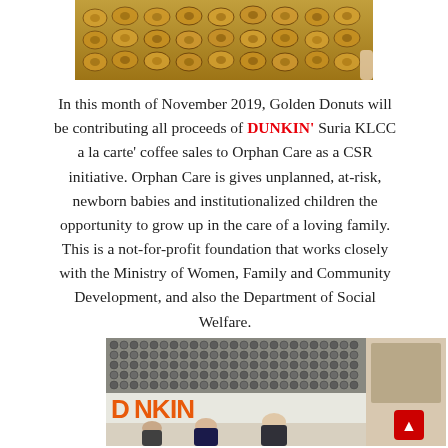[Figure (photo): Trays of golden donuts/pastries displayed on a table, partial top crop]
In this month of November 2019, Golden Donuts will be contributing all proceeds of DUNKIN' Suria KLCC a la carte' coffee sales to Orphan Care as a CSR initiative. Orphan Care is gives unplanned, at-risk, newborn babies and institutionalized children the opportunity to grow up in the care of a loving family. This is a not-for-profit foundation that works closely with the Ministry of Women, Family and Community Development, and also the Department of Social Welfare.
[Figure (photo): People standing in front of a Dunkin' store display with a wall of donuts and large DUNKIN' branding sign]